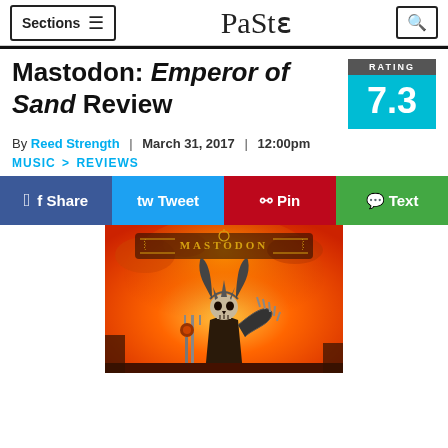Sections  Paste  [search]
Mastodon: Emperor of Sand Review
[Figure (other): Rating box showing 7.3 score on cyan background with dark header reading RATING]
By Reed Strength  |  March 31, 2017  |  12:00pm
MUSIC > REVIEWS
[Figure (infographic): Social sharing buttons: Share (Facebook blue), Tweet (Twitter blue), Pin (Pinterest red), Text (green)]
[Figure (illustration): Mastodon Emperor of Sand album cover art showing a skeletal figure with horns and ornate crown on a fiery orange background with the band name Mastodon in decorative gold lettering at top]